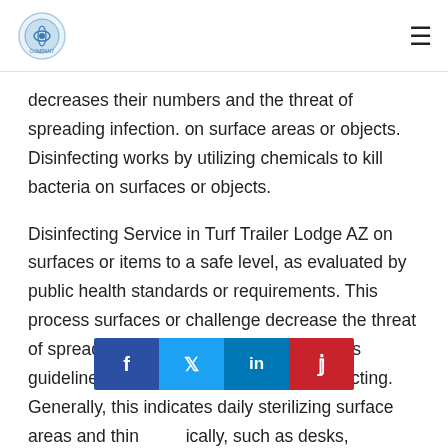[Logo] [Hamburger menu]
decreases their numbers and the threat of spreading infection. on surface areas or objects. Disinfecting works by utilizing chemicals to kill bacteria on surfaces or objects.
Disinfecting Service in Turf Trailer Lodge AZ on surfaces or items to a safe level, as evaluated by public health standards or requirements. This process surfaces or challenge decrease the threat of spreading infection. Follow your school’s guidelines for regular cleaning and disinfecting. Generally, this indicates daily sterilizing surface areas and thin…typically, such as desks, countertops, doorknobs, computer
[Figure (infographic): Social share bar with Facebook, Twitter, LinkedIn, and Pinterest buttons]